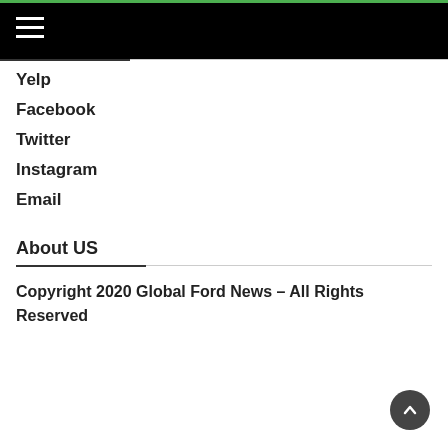Navigation menu header bar
Yelp
Facebook
Twitter
Instagram
Email
About US
Copyright 2020 Global Ford News – All Rights Reserved